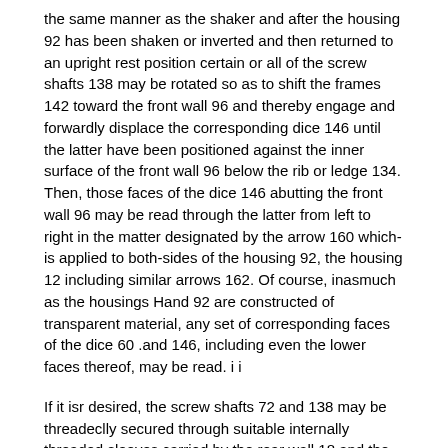the same manner as the shaker and after the housing 92 has been shaken or inverted and then returned to an upright rest position certain or all of the screw shafts 138 may be rotated so as to shift the frames 142 toward the front wall 96 and thereby engage and forwardly displace the corresponding dice 146 until the latter have been positioned against the inner surface of the front wall 96 below the rib or ledge 134. Then, those faces of the dice 146 abutting the front wall 96 may be read through the latter from left to right in the matter designated by the arrow 160 which-is applied to both-sides of the housing 92, the housing 12 including similar arrows 162. Of course, inasmuch as the housings Hand 92 are constructed of transparent material, any set of corresponding faces of the dice 60 .and 146, including even the lower faces thereof, may be read. i i
If it isr desired, the screw shafts 72 and 138 may be threadeclly secured through suitable internally threaded sleeves carried by the rear wall 18 and the rear wall portions 140, respectively, if the material of which the latter are constructed proves to be too soft.